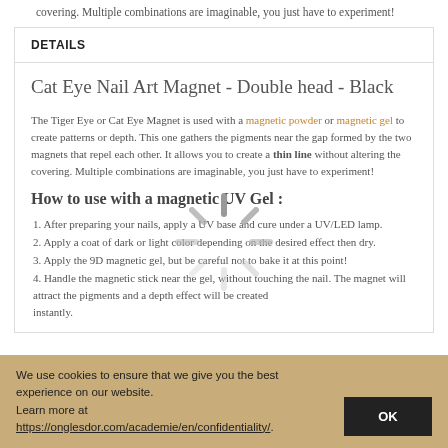covering. Multiple combinations are imaginable, you just have to experiment!
DETAILS
Cat Eye Nail Art Magnet - Double head - Black
The Tiger Eye or Cat Eye Magnet is used with a magnetic powder or magnetic gel to create patterns or depth. This one gathers the pigments near the gap formed by the two magnets that repel each other. It allows you to create a thin line without altering the covering. Multiple combinations are imaginable, you just have to experiment!
[Figure (other): Loading spinner graphic overlaid on the text content]
How to use with a magnetic UV Gel :
1. After preparing your nails, apply a UV base and cure under a UV/LED lamp.
2. Apply a coat of dark or light color depending on the desired effect then dry.
3. Apply the 9D magnetic gel, but be careful not to bake it at this point!
4. Handle the magnetic stick near the gel, without touching the nail. The magnet will attract the pigments and a depth effect will be created instantly.
We use cookies to ensure that we give you the best experience on our website.
Learn more at https://onglesdor.com/academie/en/confidentiality/.